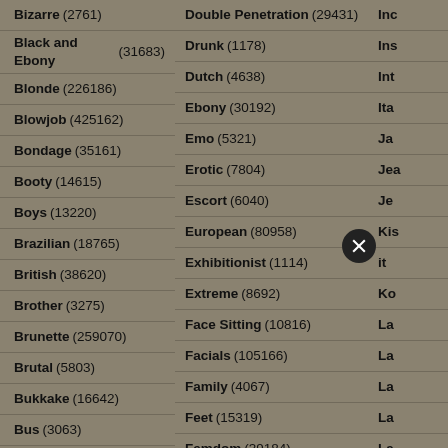Bizarre (2761)
Black and Ebony (31683)
Blonde (226186)
Blowjob (425162)
Bondage (35161)
Booty (14615)
Boys (13220)
Brazilian (18765)
British (38620)
Brother (3275)
Brunette (259070)
Brutal (5803)
Bukkake (16642)
Bus (3063)
Busty (31415)
Butt (15707)
Cam (20620)
Cameltoe (1332)
Car sex (11711)
Double Penetration (29431)
Drunk (1178)
Dutch (4638)
Ebony (30192)
Emo (5321)
Erotic (7804)
Escort (6040)
European (80958)
Exhibitionist (1114)
Extreme (8692)
Face Sitting (10816)
Facials (105166)
Family (4067)
Feet (15319)
Femdom (39184)
Fetish (61238)
FFM (2019)
Filipina (2096)
Fingering (65686)